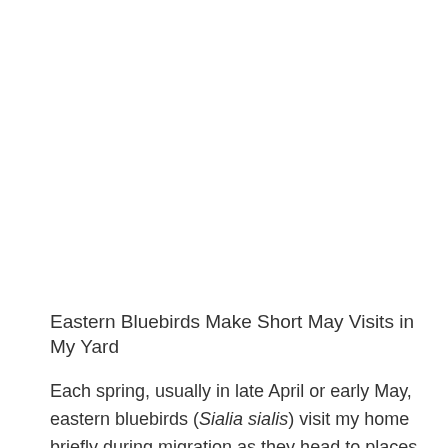Eastern Bluebirds Make Short May Visits in My Yard
Each spring, usually in late April or early May, eastern bluebirds (Sialia sialis) visit my home briefly during migration as they head to places north of here. They sit